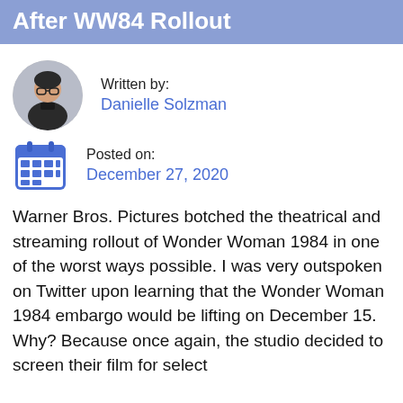After WW84 Rollout
Written by:
Danielle Solzman
Posted on:
December 27, 2020
Warner Bros. Pictures botched the theatrical and streaming rollout of Wonder Woman 1984 in one of the worst ways possible. I was very outspoken on Twitter upon learning that the Wonder Woman 1984 embargo would be lifting on December 15.  Why?  Because once again, the studio decided to screen their film for select